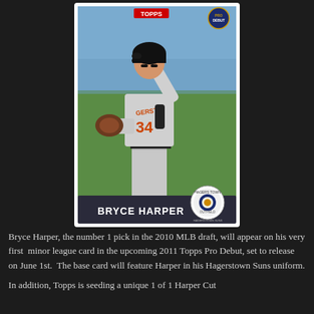[Figure (photo): Topps Pro Debut baseball card featuring Bryce Harper in his Hagerstown Suns uniform (#34), in a fielding pose. Card has 'TOPPS' logo at top center, 'PRO DEBUT' logo at top right, player name 'BRYCE HARPER' at the bottom with a team logo circle on the right side.]
Bryce Harper, the number 1 pick in the 2010 MLB draft, will appear on his very first  minor league card in the upcoming 2011 Topps Pro Debut, set to release on June 1st.  The base card will feature Harper in his Hagerstown Suns uniform.
In addition, Topps is seeding a unique 1 of 1 Harper Cut